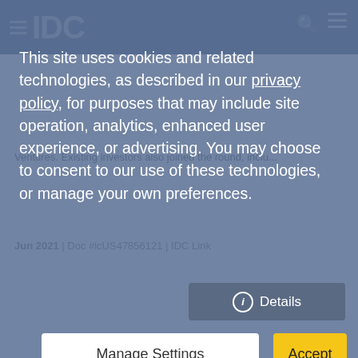IDC
This site uses cookies and related technologies, as described in our privacy policy, for purposes that may include site operation, analytics, enhanced user experience, or advertising. You may choose to consent to our use of these technologies, or manage your own preferences.
Ventures. Existing investors also joined the round, inclu...
Jun 2021 | Doc #lcUS47856121 | IDC Link
Details
Manage Settings
Accept
More results →
Analyst Location
United States
Coverage
Application development and deployment